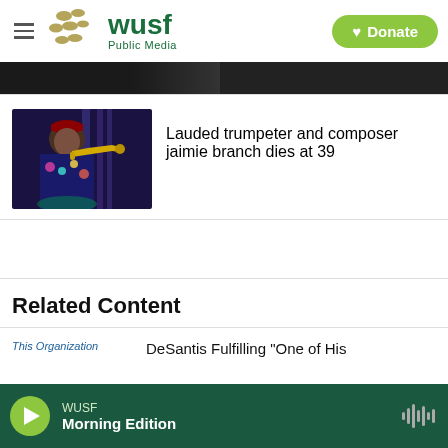[Figure (logo): WUSF Public Media logo with circular dot pattern and green text, hamburger menu icon on left, green Donate button on right]
[Figure (photo): Partial cropped photo strip at top showing dark image of performers]
[Figure (photo): Photo of jazz trumpeter jaimie branch playing trumpet on stage with purple/blue lighting, wearing colorful patterned jacket and cap]
Lauded trumpeter and composer jaimie branch dies at 39
Related Content
This Organization
DeSantis Fulfilling "One of His
[Figure (screenshot): Bottom audio player bar: green play button, WUSF station label, Morning Edition show name, waveform icon, dark green background]